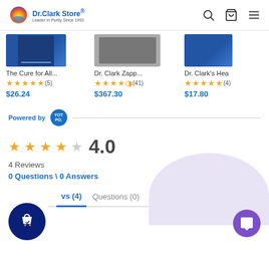Dr. Clark Store® Leader in Purity Since 1993
[Figure (screenshot): Product listing row showing three products partially visible: 'The Cure for All...' with 4.5 stars (5) $26.24, 'Dr. Clark Zapp...' with 4.5 stars (41) $367.30, and 'Dr. Clark's Hea' with 5 stars (4) $17.80]
Powered by YOTPO
4.0
4 Reviews
0 Questions \ 0 Answers
Reviews (4)
Questions (0)